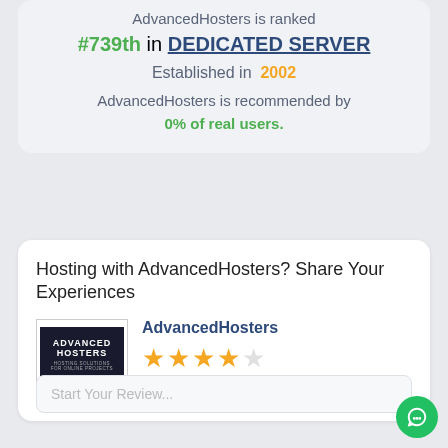AdvancedHosters is ranked
#739th in DEDICATED SERVER
Established in 2002
AdvancedHosters is recommended by 0% of real users.
Hosting with AdvancedHosters? Share Your Experiences
AdvancedHosters
Very setisfied
Start Your Review...